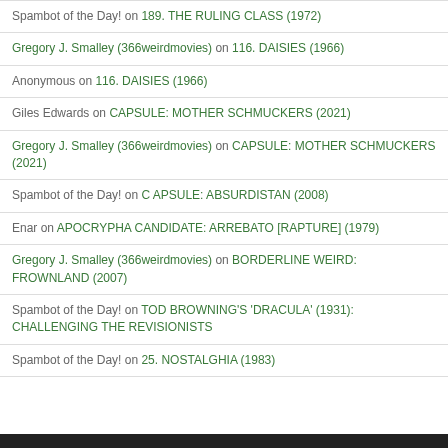Spambot of the Day! on 189. THE RULING CLASS (1972)
Gregory J. Smalley (366weirdmovies) on 116. DAISIES (1966)
Anonymous on 116. DAISIES (1966)
Giles Edwards on CAPSULE: MOTHER SCHMUCKERS (2021)
Gregory J. Smalley (366weirdmovies) on CAPSULE: MOTHER SCHMUCKERS (2021)
Spambot of the Day! on C APSULE: ABSURDISTAN (2008)
Enar on APOCRYPHA CANDIDATE: ARREBATO [RAPTURE] (1979)
Gregory J. Smalley (366weirdmovies) on BORDERLINE WEIRD: FROWNLAND (2007)
Spambot of the Day! on TOD BROWNING'S 'DRACULA' (1931): CHALLENGING THE REVISIONISTS
Spambot of the Day! on 25. NOSTALGHIA (1983)